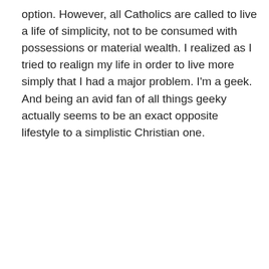option. However, all Catholics are called to live a life of simplicity, not to be consumed with possessions or material wealth. I realized as I tried to realign my life in order to live more simply that I had a major problem. I'm a geek. And being an avid fan of all things geeky actually seems to be an exact opposite lifestyle to a simplistic Christian one.
Continue reading →
April 20, 2014
Tweets from Lady Geek Girl and Friends
Hi all, some sad news from all of us at LGG&F: ow.ly/rccs30j9a9S
4 years ago